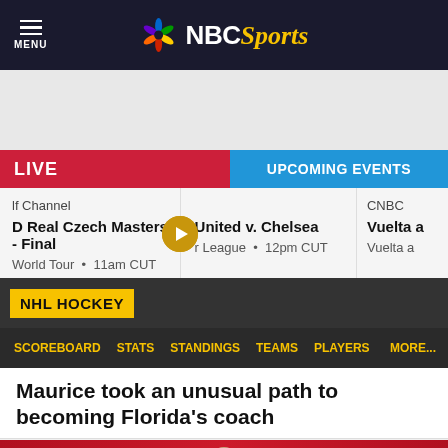NBC Sports
LIVE
UPCOMING EVENTS
lf Channel • D Real Czech Masters - Final • World Tour • 11am CUT
United v. Chelsea • r League • 12pm CUT
CNBC • Vuelta a • Vuelta a
NHL HOCKEY
SCOREBOARD   STATS   STANDINGS   TEAMS   PLAYERS   MORE...
Maurice took an unusual path to becoming Florida's coach
[Figure (photo): Press conference photo with jetBlue branding on red backdrop, man in suit speaking at podium]